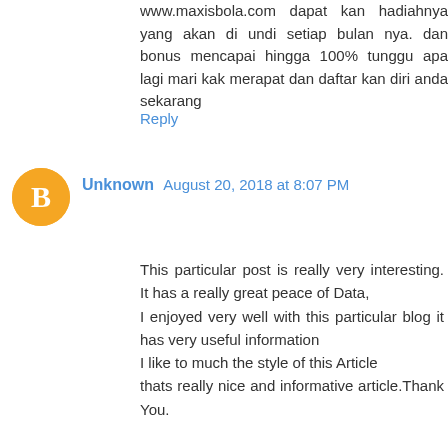www.maxisbola.com dapat kan hadiahnya yang akan di undi setiap bulan nya. dan bonus mencapai hingga 100% tunggu apa lagi mari kak merapat dan daftar kan diri anda sekarang
Reply
Unknown  August 20, 2018 at 8:07 PM
This particular post is really very interesting. It has a really great peace of Data,
I enjoyed very well with this particular blog it has very useful information
I like to much the style of this Article
thats really nice and informative article.Thank You.

hey,look, i found something very interesting article

about garden tools and tips,
best gas grill under 200
best gas grill under 500
best lawn edger